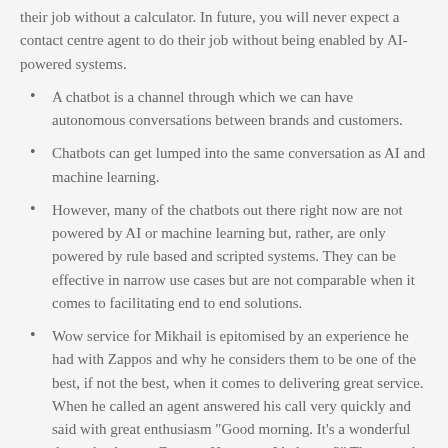their job without a calculator. In future, you will never expect a contact centre agent to do their job without being enabled by AI-powered systems.
A chatbot is a channel through which we can have autonomous conversations between brands and customers.
Chatbots can get lumped into the same conversation as AI and machine learning.
However, many of the chatbots out there right now are not powered by AI or machine learning but, rather, are only powered by rule based and scripted systems. They can be effective in narrow use cases but are not comparable when it comes to facilitating end to end solutions.
Wow service for Mikhail is epitomised by an experience he had with Zappos and why he considers them to be one of the best, if not the best, when it comes to delivering great service. When he called an agent answered his call very quickly and said with great enthusiasm "Good morning. It's a wonderful day today here at Zappos. How may I help you?" That speed, effeiciency, enthusiasm and obvious investment in people was thing that wow'ed Mikhail.